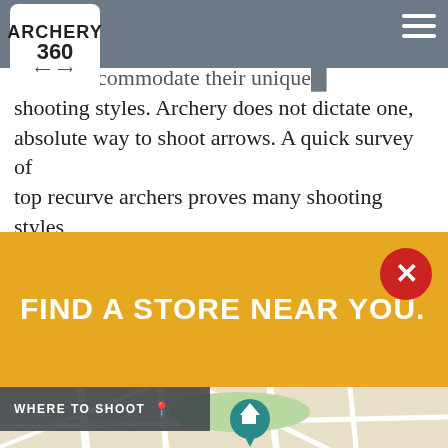Archery 360 — navigation header with logo and hamburger menu
recurve archers get started. As archers evolve at higher levels, they slightly modify form to accommodate their unique shooting styles. Archery does not dictate one, absolute way to shoot arrows. A quick survey of top recurve archers proves many shooting styles consistently score 10s. Ultimately, it means executing shots consistently.
[Figure (screenshot): Yellow promotional banner with text FIND A STORE NEAR YOU. and a red close (X) button in upper right]
[Figure (map): Street map view showing roads, parks, and a teal location pin marker with a house icon]
WHERE TO SHOOT